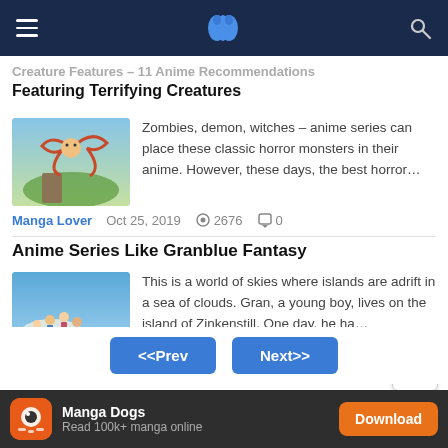Navigation bar with hamburger menu, N logo, and search icon
Creature Features – 11 Anime Recommendations Featuring Terrifying Creatures
[Figure (illustration): Anime thumbnail showing character with creature tentacles against sky background]
Zombies, demon, witches – anime series can place these classic horror monsters in their anime. However, these days, the best horror…
Manga Lover   Oct 25, 2019   2676   0
Anime Series Like Granblue Fantasy
[Figure (illustration): Anime thumbnail showing group of characters in a sky islands fantasy setting]
This is a world of skies where islands are adrift in a sea of clouds. Gran, a young boy, lives on the island of Zinkenstill. One day, he ha…
LOCH   Oct 23, 2019   2264   0
<<Prev   Next>>
Manga Dogs — Read 100k+ manga online — Download